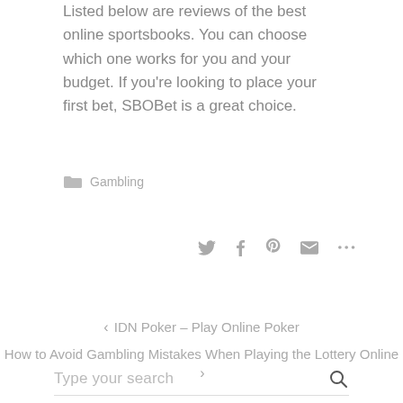Listed below are reviews of the best online sportsbooks. You can choose which one works for you and your budget. If you're looking to place your first bet, SBOBet is a great choice.
Gambling
[Figure (infographic): Social share icons: Twitter, Facebook, Pinterest, Email, More (...)]
< IDN Poker – Play Online Poker
How to Avoid Gambling Mistakes When Playing the Lottery Online >
Type your search